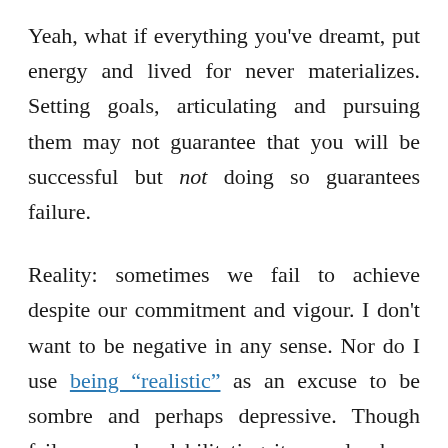Yeah, what if everything you've dreamt, put energy and lived for never materializes. Setting goals, articulating and pursuing them may not guarantee that you will be successful but not doing so guarantees failure.
Reality: sometimes we fail to achieve despite our commitment and vigour. I don't want to be negative in any sense. Nor do I use being "realistic" as an excuse to be sombre and perhaps depressive. Though failure can be debilitating it can also be a catalyst for pivots,